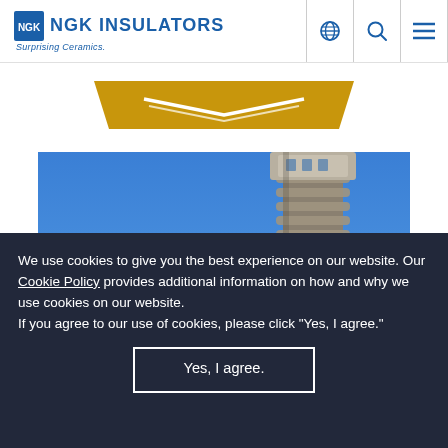[Figure (logo): NGK Insulators logo with globe icon and tagline 'Surprising Ceramics.' in blue]
[Figure (illustration): Gold/yellow chevron-shaped banner graphic]
[Figure (photo): Photograph of a tall ceramic insulator tower/chimney against a blue sky, viewed from below]
We use cookies to give you the best experience on our website. Our Cookie Policy provides additional information on how and why we use cookies on our website.
If you agree to our use of cookies, please click "Yes, I agree."
Yes, I agree.